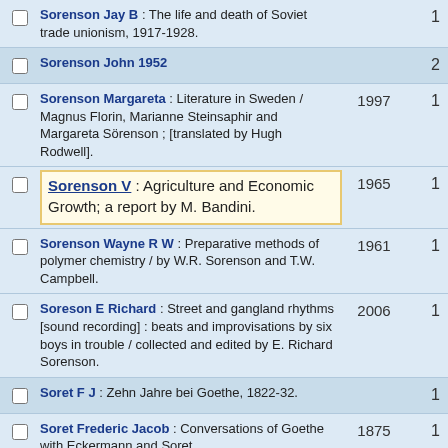Sorenson Jay B : The life and death of Soviet trade unionism, 1917-1928. | year: [cut off] | count: 1
Sorenson John 1952 | count: 2
Sorenson Margareta : Literature in Sweden / Magnus Florin, Marianne Steinsaphir and Margareta Sörenson ; [translated by Hugh Rodwell]. | year: 1997 | count: 1
Sorenson V : Agriculture and Economic Growth; a report by M. Bandini. | year: 1965 | count: 1
Sorenson Wayne R W : Preparative methods of polymer chemistry / by W.R. Sorenson and T.W. Campbell. | year: 1961 | count: 1
Soreson E Richard : Street and gangland rhythms [sound recording] : beats and improvisations by six boys in trouble / collected and edited by E. Richard Sorenson. | year: 2006 | count: 1
Soret F J : Zehn Jahre bei Goethe, 1822-32. | count: 1
Soret Frederic Jacob : Conversations of Goethe with Eckermann and Soret. | year: 1875 | count: 1
Sorfa David : The cinema of Michael Haneke : Europe utopia / edited by Ben McCann & David Sorfa. | year: c2011 | count: 1
Sorg Bernhard | count: 2
Sorg Henry Charles : Rosongor's religion : a critical | year: 1970